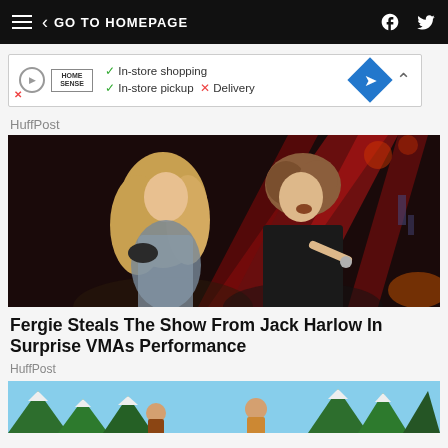< GO TO HOMEPAGE
[Figure (screenshot): Ad banner for HomeSense showing in-store shopping, in-store pickup checkmarks and Delivery with X mark, blue diamond navigation icon]
HuffPost
[Figure (photo): Fergie and Jack Harlow performing on stage at the VMAs, red stage lighting in background]
Fergie Steals The Show From Jack Harlow In Surprise VMAs Performance
HuffPost
[Figure (illustration): Partial illustration showing figures in a forest or outdoor scene]